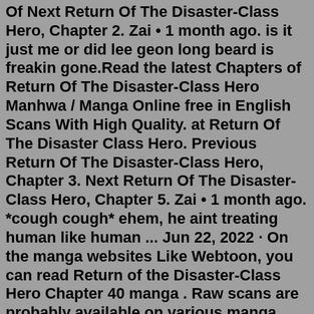Of Next Return Of The Disaster-Class Hero, Chapter 2. Zai • 1 month ago. is it just me or did lee geon long beard is freakin gone.Read the latest Chapters of Return Of The Disaster-Class Hero Manhwa / Manga Online free in English Scans With High Quality. at Return Of The Disaster Class Hero. Previous Return Of The Disaster-Class Hero, Chapter 3. Next Return Of The Disaster-Class Hero, Chapter 5. Zai • 1 month ago. *cough cough* ehem, he aint treating human like human ... Jun 22, 2022 · On the manga websites Like Webtoon, you can read Return of the Disaster-Class Hero Chapter 40 manga . Raw scans are probably available on various manga sites and YouTube videos, but we recommend that you read from official sources. About Return of the Disaster-Class Hero. In 2021, a new manhwa, Return of the Disaster Class Hero, began. Despite ... Jun 19, 2022 · The Return Of The Disaster-Class Hero, The dead cannot speak. It means the living can create any story they want. Inheritance, honor and wealth can be taken away by lies. However, what happens when a person, who was